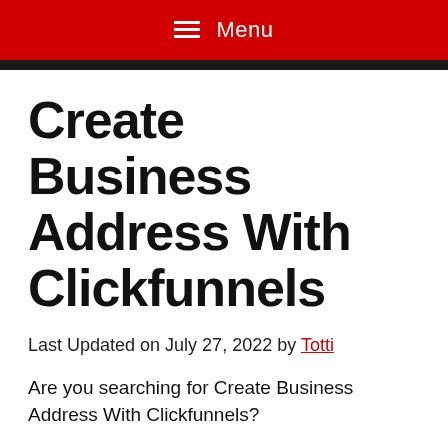≡ Menu
Create Business Address With Clickfunnels
Last Updated on July 27, 2022 by Totti
Are you searching for Create Business Address With Clickfunnels?
Then you come to the ideal place!